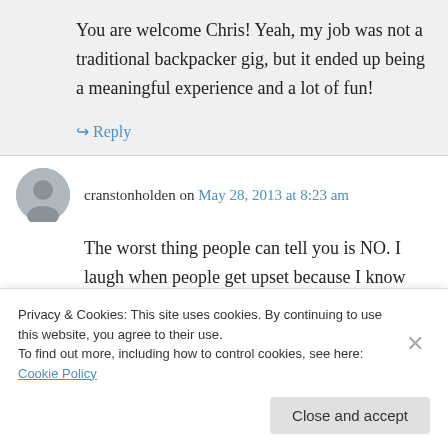You are welcome Chris! Yeah, my job was not a traditional backpacker gig, but it ended up being a meaningful experience and a lot of fun!
↪ Reply
cranstonholden on May 28, 2013 at 8:23 am
The worst thing people can tell you is NO. I laugh when people get upset because I know
Privacy & Cookies: This site uses cookies. By continuing to use this website, you agree to their use.
To find out more, including how to control cookies, see here: Cookie Policy
Close and accept